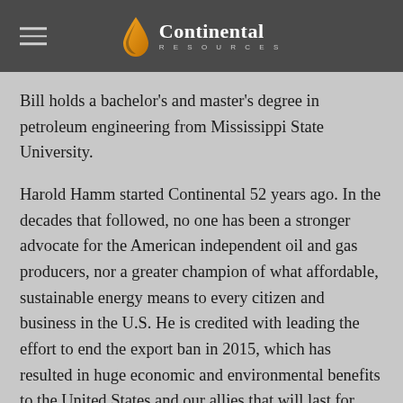Continental Resources
Bill holds a bachelor's and master's degree in petroleum engineering from Mississippi State University.
Harold Hamm started Continental 52 years ago. In the decades that followed, no one has been a stronger advocate for the American independent oil and gas producers, nor a greater champion of what affordable, sustainable energy means to every citizen and business in the U.S. He is credited with leading the effort to end the export ban in 2015, which has resulted in huge economic and environmental benefits to the United States and our allies that will last for decades to come. His